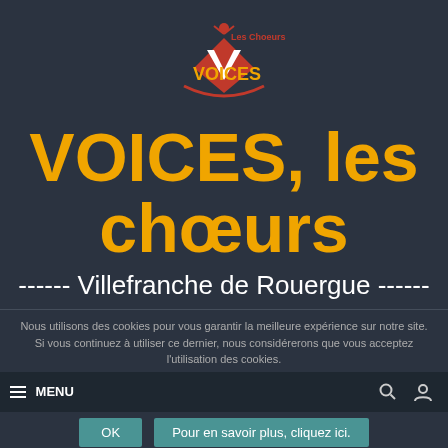[Figure (logo): Les Choeurs VOICES logo with red diamond/chevron shape and stylized figure on top, red and gold text]
VOICES, les chœurs
------ Villefranche de Rouergue ------
Nous utilisons des cookies pour vous garantir la meilleure expérience sur notre site. Si vous continuez à utiliser ce dernier, nous considérerons que vous acceptez l'utilisation des cookies.
≡ MENU
OK
Pour en savoir plus, cliquez ici.
The Way Term Paper